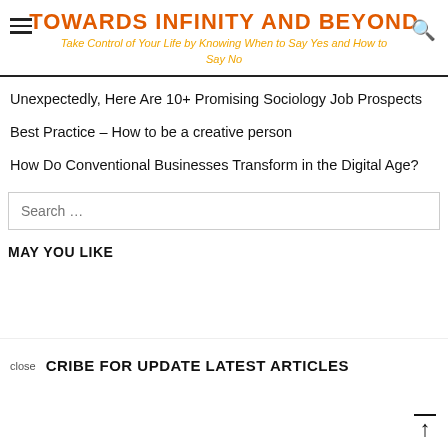TOWARDS INFINITY AND BEYOND
Take Control of Your Life by Knowing When to Say Yes and How to Say No
Unexpectedly, Here Are 10+ Promising Sociology Job Prospects
Best Practice – How to be a creative person
How Do Conventional Businesses Transform in the Digital Age?
Search …
MAY YOU LIKE
close  CRIBE FOR UPDATE LATEST ARTICLES